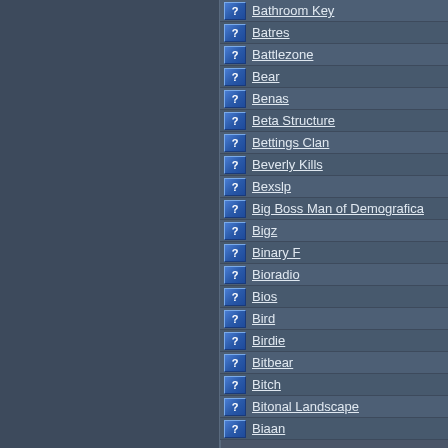Bathroom Key
Batres
Battlezone
Bear
Benas
Beta Structure
Bettings Clan
Beverly Kills
Bexslp
Big Boss Man of Demografica
Bigz
Binary F
Bioradio
Bios
Bird
Birdie
Bitbear
Bitch
Bitonal Landscape
Biaan